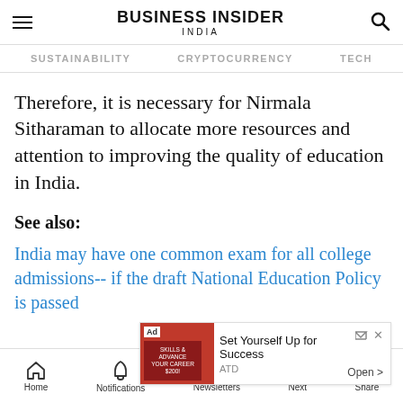BUSINESS INSIDER INDIA
SUSTAINABILITY   CRYPTOCURRENCY   TECH
Therefore, it is necessary for Nirmala Sitharaman to allocate more resources and attention to improving the quality of education in India.
See also:
India may have one common exam for all college admissions-- if the draft National Education Policy is passed
[Figure (screenshot): Advertisement banner for ATD: Set Yourself Up for Success]
Home   Notifications   Newsletters   Next   Share